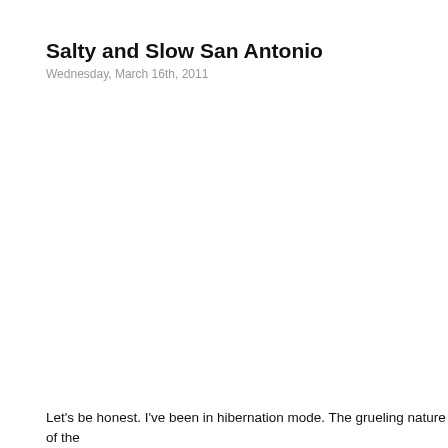Salty and Slow San Antonio
Wednesday, March 16th, 2011
Let's be honest. I've been in hibernation mode. The grueling nature of the